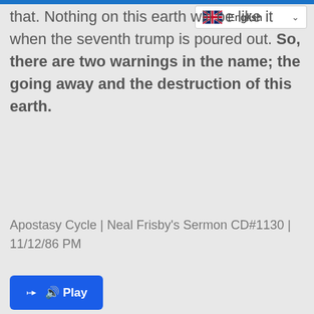that. Nothing on this earth will be like it when the seventh trump is poured out. So, there are two warnings in the name; the going away and the destruction of this earth.
Apostasy Cycle | Neal Frisby's Sermon CD#1130 | 11/12/86 PM
[Figure (other): Blue Play button with speaker icon and text 'Play']